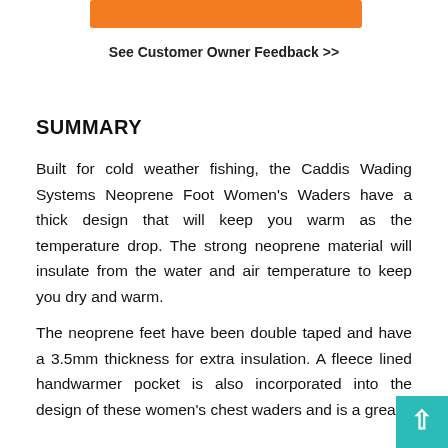[Figure (other): Orange rectangular button/bar at the top of the page]
See Customer Owner Feedback >>
SUMMARY
Built for cold weather fishing, the Caddis Wading Systems Neoprene Foot Women's Waders have a thick design that will keep you warm as the temperature drop. The strong neoprene material will insulate from the water and air temperature to keep you dry and warm.
The neoprene feet have been double taped and have a 3.5mm thickness for extra insulation. A fleece lined handwarmer pocket is also incorporated into the design of these women's chest waders and is a grea